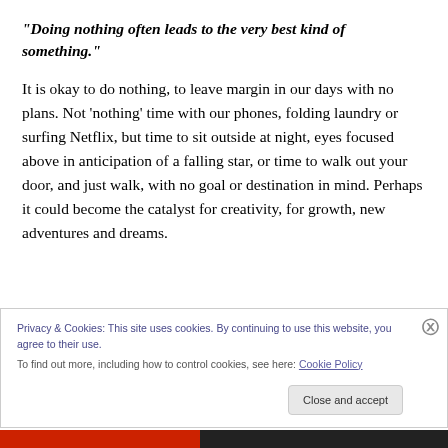“Doing nothing often leads to the very best kind of something.”
It is okay to do nothing, to leave margin in our days with no plans. Not ‘nothing’ time with our phones, folding laundry or surfing Netflix, but time to sit outside at night, eyes focused above in anticipation of a falling star, or time to walk out your door, and just walk, with no goal or destination in mind. Perhaps it could become the catalyst for creativity, for growth, new adventures and dreams.
Privacy & Cookies: This site uses cookies. By continuing to use this website, you agree to their use.
To find out more, including how to control cookies, see here: Cookie Policy